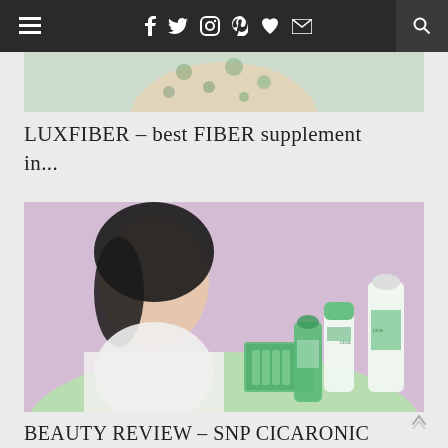≡ f t ⊙ P ♥ ✉ 🔍
[Figure (photo): Top portion of a person in a floral outfit, cropped showing torso/hands area with green background]
LUXFIBER – best FIBER supplement in...
[Figure (photo): A woman with dark hair posing with SNP Cicaronic skincare product range on a lavender/purple background, with green and white product bottles and boxes arranged in front of her]
BEAUTY REVIEW – SNP CICARONIC RANGE...